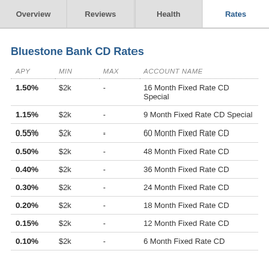Overview | Reviews | Health | Rates
Bluestone Bank CD Rates
| APY | MIN | MAX | ACCOUNT NAME |
| --- | --- | --- | --- |
| 1.50% | $2k | - | 16 Month Fixed Rate CD Special |
| 1.15% | $2k | - | 9 Month Fixed Rate CD Special |
| 0.55% | $2k | - | 60 Month Fixed Rate CD |
| 0.50% | $2k | - | 48 Month Fixed Rate CD |
| 0.40% | $2k | - | 36 Month Fixed Rate CD |
| 0.30% | $2k | - | 24 Month Fixed Rate CD |
| 0.20% | $2k | - | 18 Month Fixed Rate CD |
| 0.15% | $2k | - | 12 Month Fixed Rate CD |
| 0.10% | $2k | - | 6 Month Fixed Rate CD |